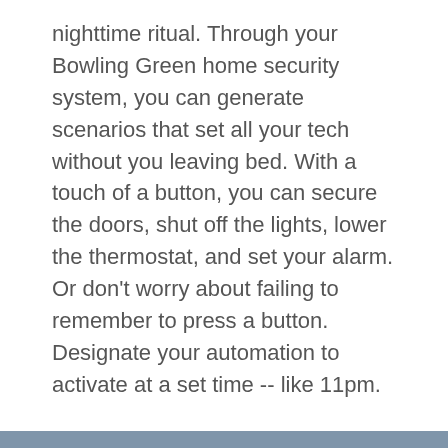nighttime ritual. Through your Bowling Green home security system, you can generate scenarios that set all your tech without you leaving bed. With a touch of a button, you can secure the doors, shut off the lights, lower the thermostat, and set your alarm. Or don't worry about failing to remember to press a button. Designate your automation to activate at a set time -- like 11pm.
Call (270) 514-2292 now to get a free quote
Ready to turn your home into a smart home? Call now to get started or fill out the form.